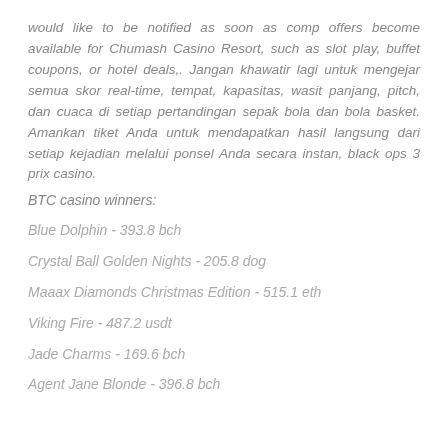would like to be notified as soon as comp offers become available for Chumash Casino Resort, such as slot play, buffet coupons, or hotel deals,. Jangan khawatir lagi untuk mengejar semua skor real-time, tempat, kapasitas, wasit panjang, pitch, dan cuaca di setiap pertandingan sepak bola dan bola basket. Amankan tiket Anda untuk mendapatkan hasil langsung dari setiap kejadian melalui ponsel Anda secara instan, black ops 3 prix casino.
BTC casino winners:
Blue Dolphin - 393.8 bch
Crystal Ball Golden Nights - 205.8 dog
Maaax Diamonds Christmas Edition - 515.1 eth
Viking Fire - 487.2 usdt
Jade Charms - 169.6 bch
Agent Jane Blonde - 396.8 bch